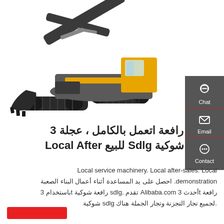[Figure (photo): Volvo tracked excavator (crawler excavator) with yellow and grey/black color scheme, shown on white background with VOLVO branding on the boom arm.]
رافعة اتعمل بالكامل ، عجلة 3 شوكية Sdlg للبيع Local After
Local service machinery. Local after-sales. Local demonstration. احصل على يد المساعدة أثناء أعمال البناء الصعبة . رافعة tأحدث 3 Alibaba.com تقدم .sdlg رافعة شوكية tباستخدام 3 sdlg لجميع تجار التجزنة وتجار الجملة هناك شوكية.